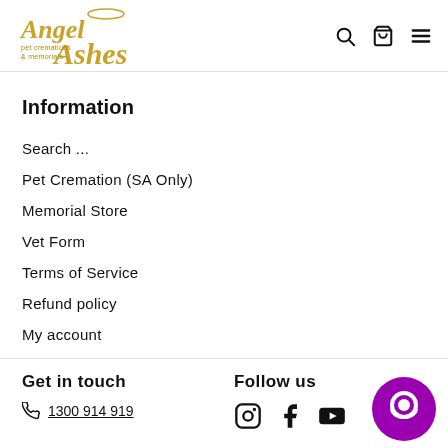Angel Ashes pet cremations & memorials — navigation icons
Information
Search ...
Pet Cremation (SA Only)
Memorial Store
Vet Form
Terms of Service
Refund policy
My account
Get in touch  Follow us  1300 914 919  [Instagram] [Facebook] [YouTube]